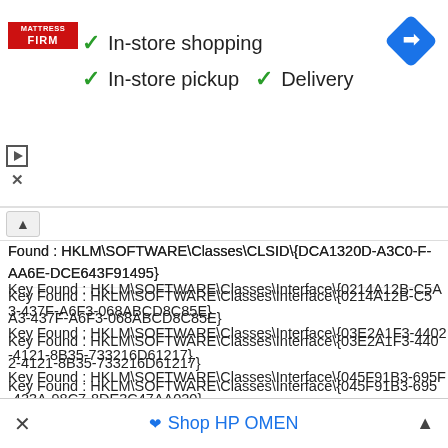[Figure (infographic): Mattress Firm advertisement banner with checkmarks for In-store shopping, In-store pickup, and Delivery options, plus a navigation/directions icon]
Found : HKLM\SOFTWARE\Classes\CLSID\{DCA1320D-A3C0-F-AA6E-DCE643F91495}
Key Found : HKLM\SOFTWARE\Classes\Interface\{0214A12B-C5A3-437F-A6F3-068ABCD8C85E}
Key Found : HKLM\SOFTWARE\Classes\Interface\{03E2A1F3-4402-4121-8B35-733216D61217}
Key Found : HKLM\SOFTWARE\Classes\Interface\{045F91B3-695F-423A-98C7-8DE3C47AA020}
Key Found : HKLM\SOFTWARE\Classes\Interface\{1348BD1B-C32A-41A7-9BD4-5377AA1AB925}
Key Found : HKLM\SOFTWARE\Classes\Interface\{395AFE6E-8308-48DB-89BE-ED5F4AA3D3EC}
Key Found : HKLM\SOFTWARE\Classes\Interface\{43969E3F-3E7C-4911-A8F1-79C6CA6AC731}
Key Found : HKLM\SOFTWARE\Classes\Interface\{43B390F0-6BA2-45CA-ABF2-5DB0CEE9B49D}
Key Found : HKLM\SOFTWARE\Classes\Interface\{93CF54F5-CFAA-4440-B588-8ED0DFAD5C21}
Key Found : HKLM\SOFTWARE\Classes\Interface\{94CADA2E-1D3F-419F-8A3D-06C58EDF53C8}
Key Found : HKLM\SOFTWARE\Classes\Interface\{96DD9437-5D20-
[Figure (infographic): Bottom advertisement bar: close X on left, Shop HP OMEN link with heart icon in center, chevron up on right]